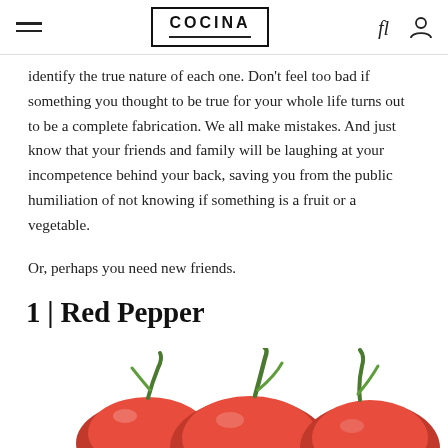COCINA
identify the true nature of each one. Don't feel too bad if something you thought to be true for your whole life turns out to be a complete fabrication. We all make mistakes. And just know that your friends and family will be laughing at your incompetence behind your back, saving you from the public humiliation of not knowing if something is a fruit or a vegetable.
Or, perhaps you need new friends.
1 | Red Pepper
[Figure (photo): Red peppers / bell peppers photographed from above on a white background, showing two or three red peppers with green stems.]